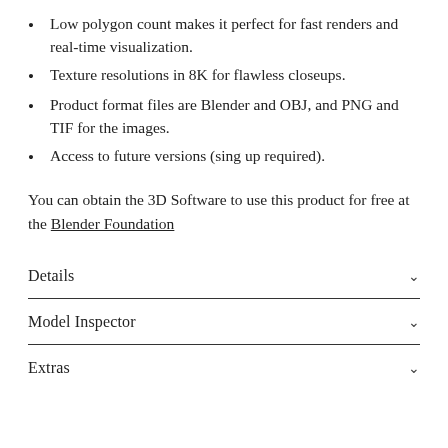Low polygon count makes it perfect for fast renders and real-time visualization.
Texture resolutions in 8K for flawless closeups.
Product format files are Blender and OBJ, and PNG and TIF for the images.
Access to future versions (sing up required).
You can obtain the 3D Software to use this product for free at the Blender Foundation
Details
Model Inspector
Extras